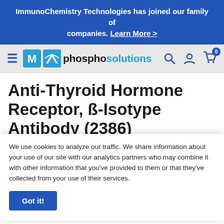ImmunoChemistry Technologies has joined our family of companies. Learn More >
[Figure (logo): PhosphoSolutions logo with navigation bar including hamburger menu, search, account and cart icons]
Anti-Thyroid Hormone Receptor, ß-Isotype Antibody (2386)
We use cookies to analyze our traffic. We share information about your use of our site with our analytics partners who may combine it with other information that you've provided to them or that they've collected from your use of their services.
detects human Thyroid Hormone Receptor, β-Isotype and is